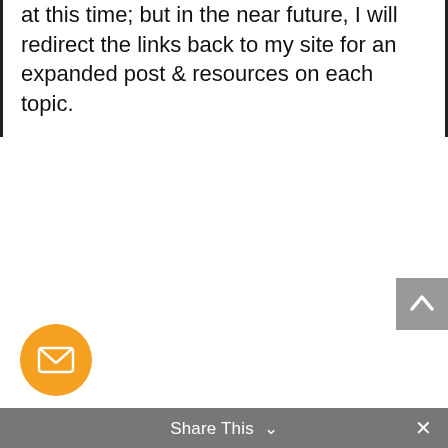at this time; but in the near future, I will redirect the links back to my site for an expanded post & resources on each topic.
[Figure (other): Scroll-to-top button: gray square with white upward chevron arrow, positioned at right edge]
[Figure (other): Orange circular email/envelope button at bottom left]
Share This ∨  ×